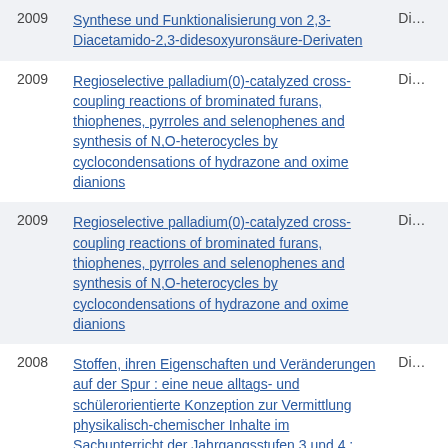| Year | Title | Type |
| --- | --- | --- |
| 2009 | Synthese und Funktionalisierung von 2,3-Diacetamido-2,3-didesoxyuronsäure-Derivaten | Di… |
| 2009 | Regioselective palladium(0)-catalyzed cross-coupling reactions of brominated furans, thiophenes, pyrroles and selenophenes and synthesis of N,O-heterocycles by cyclocondensations of hydrazone and oxime dianions | Di… |
| 2009 | Regioselective palladium(0)-catalyzed cross-coupling reactions of brominated furans, thiophenes, pyrroles and selenophenes and synthesis of N,O-heterocycles by cyclocondensations of hydrazone and oxime dianions | Di… |
| 2008 | Stoffen, ihren Eigenschaften und Veränderungen auf der Spur : eine neue alltags- und schülerorientierte Konzeption zur Vermittlung physikalisch-chemischer Inhalte im Sachunterricht der Jahrgangsstufen 3 und 4 ; Anh. | Di… |
|  | Stoffen, ihren Eigenschaften und Veränderungen |  |